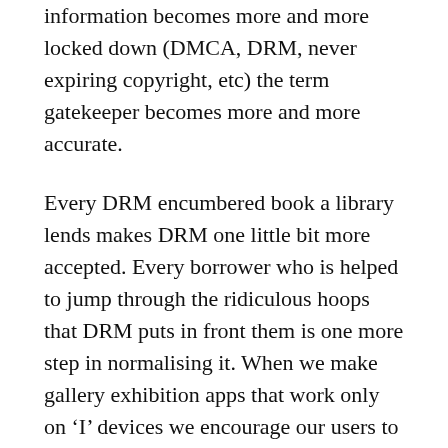information becomes more and more locked down (DMCA, DRM, never expiring copyright, etc) the term gatekeeper becomes more and more accurate.
Every DRM encumbered book a library lends makes DRM one little bit more accepted. Every borrower who is helped to jump through the ridiculous hoops that DRM puts in front them is one more step in normalising it. When we make gallery exhibition apps that work only on ‘I’ devices we encourage our users to use proprietary software. In essence I contend that we are actually providing a disservice when we do these things.
Luckily at the same time this increased lock in